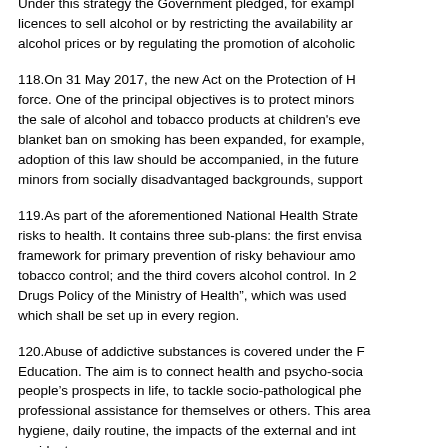Under this strategy the Government pledged, for example, licences to sell alcohol or by restricting the availability and alcohol prices or by regulating the promotion of alcoholic
118. On 31 May 2017, the new Act on the Protection of H... force. One of the principal objectives is to protect minors the sale of alcohol and tobacco products at children's eve... blanket ban on smoking has been expanded, for example, adoption of this law should be accompanied, in the future... minors from socially disadvantaged backgrounds, support...
119. As part of the aforementioned National Health Strate... risks to health. It contains three sub-plans: the first envisa... framework for primary prevention of risky behaviour amo... tobacco control; and the third covers alcohol control. In 2... Drugs Policy of the Ministry of Health", which was used... which shall be set up in every region.
120. Abuse of addictive substances is covered under the F... Education. The aim is to connect health and psycho-socia... people's prospects in life, to tackle socio-pathological phe... professional assistance for themselves or others. This area... hygiene, daily routine, the impacts of the external and int... accidents.
Social services and social facilities for children